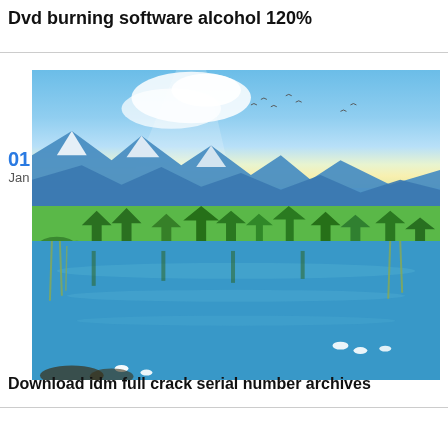Dvd burning software alcohol 120%
[Figure (illustration): A scenic landscape illustration showing snow-capped blue mountains in the background, green trees and vegetation on a central island, reflected in a calm blue lake in the foreground with birds and reeds.]
01
Jan
Download idm full crack serial number archives